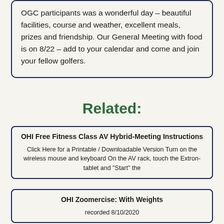OGC participants was a wonderful day – beautiful facilities, course and weather, excellent meals, prizes and friendship. Our General Meeting with food is on 8/22 – add to your calendar and come and join your fellow golfers.
Related:
OHI Free Fitness Class AV Hybrid-Meeting Instructions
Click Here for a Printable / Downloadable Version Turn on the wireless mouse and keyboard On the AV rack, touch the Extron-tablet and "Start" the
OHI Zoomercise: With Weights
recorded 8/10/2020